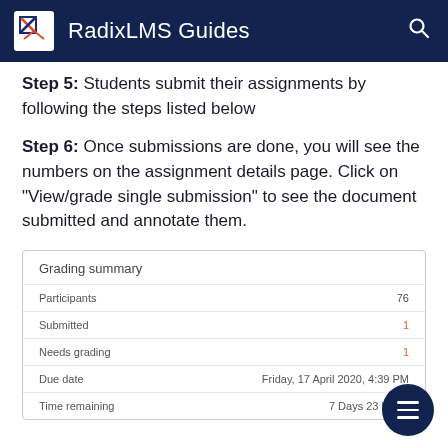RadixLMS Guides
Step 5: Students submit their assignments by following the steps listed below
Step 6: Once submissions are done, you will see the numbers on the assignment details page. Click on "View/grade single submission" to see the document submitted and annotate them.
|  |  |
| --- | --- |
| Participants | 76 |
| Submitted | 1 |
| Needs grading | 1 |
| Due date | Friday, 17 April 2020, 4:39 PM |
| Time remaining | 7 Days 23 hours |